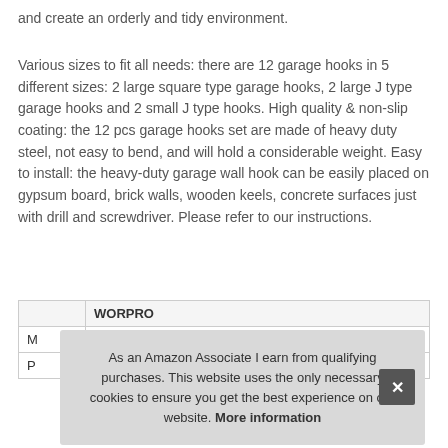and create an orderly and tidy environment.
Various sizes to fit all needs: there are 12 garage hooks in 5 different sizes: 2 large square type garage hooks, 2 large J type garage hooks and 2 small J type hooks. High quality & non-slip coating: the 12 pcs garage hooks set are made of heavy duty steel, not easy to bend, and will hold a considerable weight. Easy to install: the heavy-duty garage wall hook can be easily placed on gypsum board, brick walls, wooden keels, concrete surfaces just with drill and screwdriver. Please refer to our instructions.
| Brand | WORPRO |
| --- | --- |
| Ma |  |
| P |  |
As an Amazon Associate I earn from qualifying purchases. This website uses the only necessary cookies to ensure you get the best experience on our website. More information